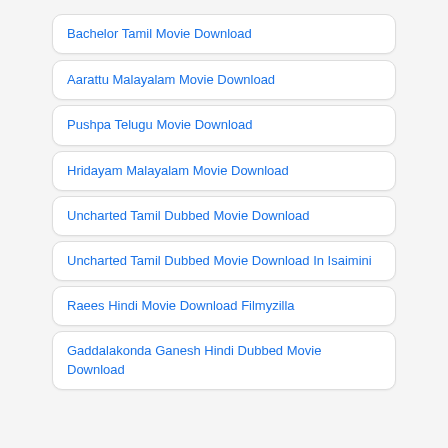Bachelor Tamil Movie Download
Aarattu Malayalam Movie Download
Pushpa Telugu Movie Download
Hridayam Malayalam Movie Download
Uncharted Tamil Dubbed Movie Download
Uncharted Tamil Dubbed Movie Download In Isaimini
Raees Hindi Movie Download Filmyzilla
Gaddalakonda Ganesh Hindi Dubbed Movie Download